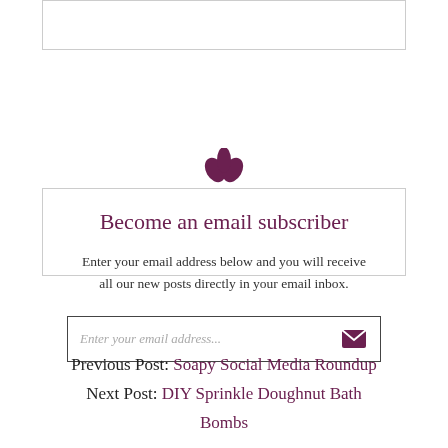[Figure (illustration): Partial top box (cut-off widget border)]
[Figure (illustration): Purple lotus/leaf flower icon above subscriber box]
Become an email subscriber
Enter your email address below and you will receive all our new posts directly in your email inbox.
[Figure (screenshot): Email input field with placeholder text 'Enter your email address...' and a purple envelope submit icon]
Previous Post: Soapy Social Media Roundup
Next Post: DIY Sprinkle Doughnut Bath Bombs